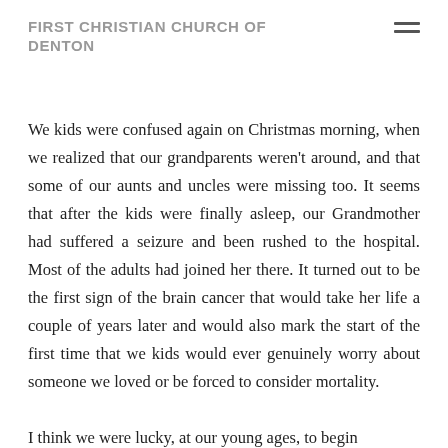FIRST CHRISTIAN CHURCH OF DENTON
We kids were confused again on Christmas morning, when we realized that our grandparents weren't around, and that some of our aunts and uncles were missing too. It seems that after the kids were finally asleep, our Grandmother had suffered a seizure and been rushed to the hospital. Most of the adults had joined her there. It turned out to be the first sign of the brain cancer that would take her life a couple of years later and would also mark the start of the first time that we kids would ever genuinely worry about someone we loved or be forced to consider mortality.
I think we were lucky, at our young ages, to begin